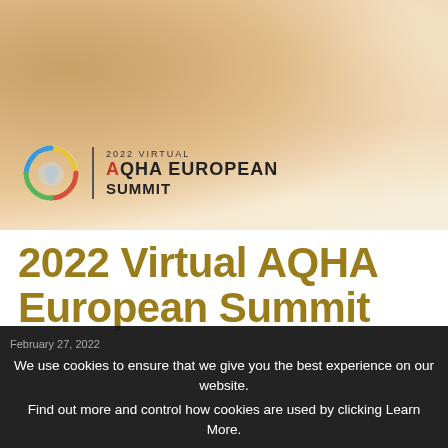[Figure (photo): Close-up photo of a horse's face/eye area in warm golden tones, with the 2022 Virtual AQHA European Summit logo overlaid in the lower-left corner]
2022 Virtual AQHA European Summit
February 27, 2022
We use cookies to ensure that we give you the best experience on our website.
Find out more and control how cookies are used by clicking Learn More.
By using this website you agree to the use of cookies. Learn More
I Agree
region. The AQHA Inter— —tment is excited to